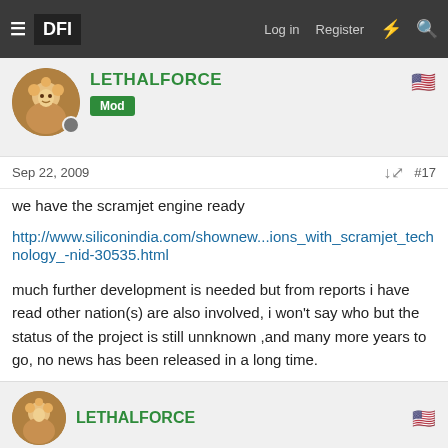≡ DFI  Log in  Register
LETHALFORCE  Mod
Sep 22, 2009  #17
we have the scramjet engine ready
http://www.siliconindia.com/shownew...ions_with_scramjet_technology_-nid-30535.html
much further development is needed but from reports i have read other nation(s) are also involved, i won't say who but the status of the project is still unnknown ,and many more years to go, no news has been released in a long time.
LETHALFORCE